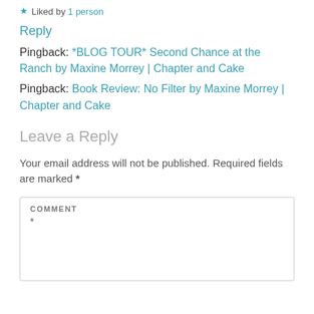★ Liked by 1 person
Reply
Pingback: *BLOG TOUR* Second Chance at the Ranch by Maxine Morrey | Chapter and Cake
Pingback: Book Review: No Filter by Maxine Morrey | Chapter and Cake
Leave a Reply
Your email address will not be published. Required fields are marked *
COMMENT *